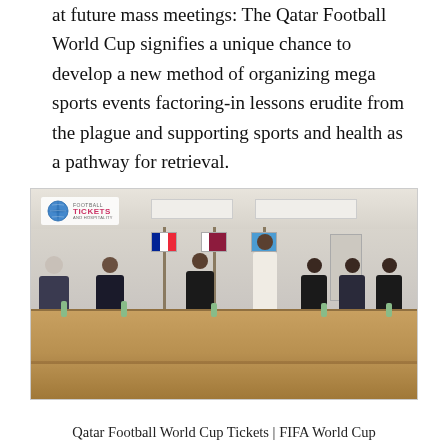at future mass meetings: The Qatar Football World Cup signifies a unique chance to develop a new method of organizing mega sports events factoring-in lessons erudite from the plague and supporting sports and health as a pathway for retrieval.
[Figure (photo): A formal meeting in a conference room with several masked delegates seated around a large table. Flags visible in the background including French, Qatari, and UN flags. A logo reading 'Tickets and Hospitality' appears in the top left corner of the image.]
Qatar Football World Cup Tickets | FIFA World Cup